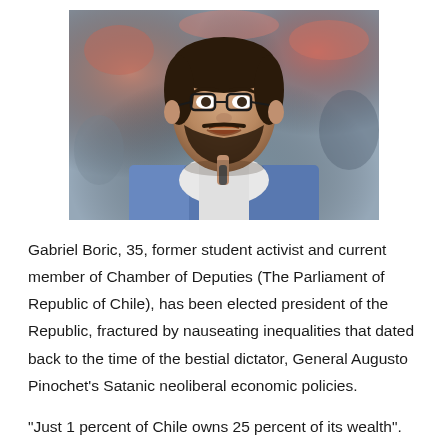[Figure (photo): Photo of Gabriel Boric, a bearded man with glasses wearing a blue jacket and white shirt, speaking into a microphone with a blurred crowd in the background.]
Gabriel Boric, 35, former student activist and current member of Chamber of Deputies (The Parliament of Republic of Chile), has been elected president of the Republic, fractured by nauseating inequalities that dated back to the time of the bestial dictator, General Augusto Pinochet's Satanic neoliberal economic policies.
"Just 1 percent of Chile owns 25 percent of its wealth".